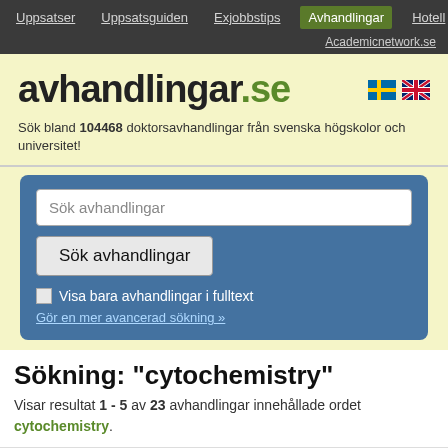Uppsatser | Uppsatsguiden | Exjobbstips | Avhandlingar | Hotell | Academicnetwork.se
avhandlingar.se
Sök bland 104468 doktorsavhandlingar från svenska högskolor och universitet!
[Figure (screenshot): Search box with placeholder 'Sök avhandlingar' and button 'Sök avhandlingar', checkbox for fulltext, advanced search link]
Sökning: "cytochemistry"
Visar resultat 1 - 5 av 23 avhandlingar innehållade ordet cytochemistry.
1. Cytogenetic studies of primary and metastatic breast